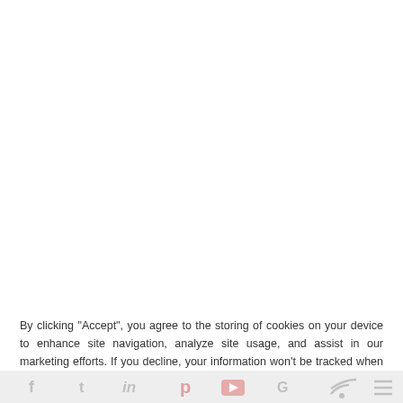By clicking "Accept", you agree to the storing of cookies on your device to enhance site navigation, analyze site usage, and assist in our marketing efforts. If you decline, your information won't be tracked when you visit this website. A single cookie will be used in your browser to remember your preference not to be tracked.
[Figure (other): Cookie consent banner with Accept and Decline buttons, and a social media icon bar at the bottom]